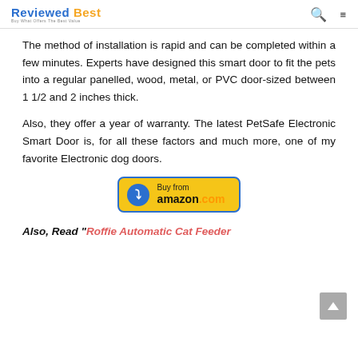Reviewed Best — Buy What Offers The Best Value
The method of installation is rapid and can be completed within a few minutes. Experts have designed this smart door to fit the pets into a regular panelled, wood, metal, or PVC door-sized between 1 1/2 and 2 inches thick.
Also, they offer a year of warranty. The latest PetSafe Electronic Smart Door is, for all these factors and much more, one of my favorite Electronic dog doors.
[Figure (other): Buy from amazon.com button with blue circular arrow icon on yellow background with blue border]
Also, Read "Roffie Automatic Cat Feeder